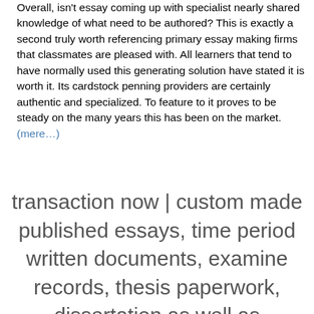Overall, isn't essay coming up with specialist nearly shared knowledge of what need to be authored? This is exactly a second truly worth referencing primary essay making firms that classmates are pleased with. All learners that tend to have normally used this generating solution have stated it is worth it. Its cardstock penning providers are certainly authentic and specialized. To feature to it proves to be steady on the many years this has been on the market. (mere…)
transaction now | custom made published essays, time period written documents, examine records, thesis paperwork, dissertation as well as